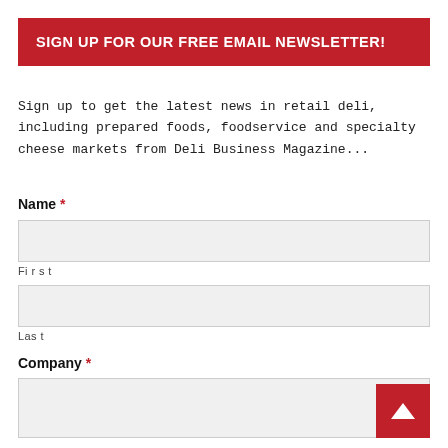SIGN UP FOR OUR FREE EMAIL NEWSLETTER!
Sign up to get the latest news in retail deli, including prepared foods, foodservice and specialty cheese markets from Deli Business Magazine...
Name *
First
Last
Company *